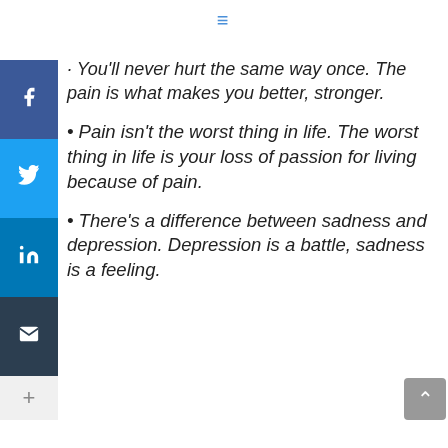• You'll never hurt the same way once. The pain is what makes you better, stronger.
• Pain isn't the worst thing in life. The worst thing in life is your loss of passion for living because of pain.
• There's a difference between sadness and depression. Depression is a battle, sadness is a feeling.